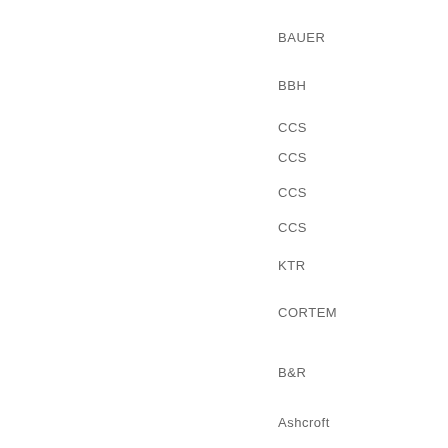BAUER
BBH
CCS
CCS
CCS
CCS
KTR
CORTEM
B&R
Ashcroft